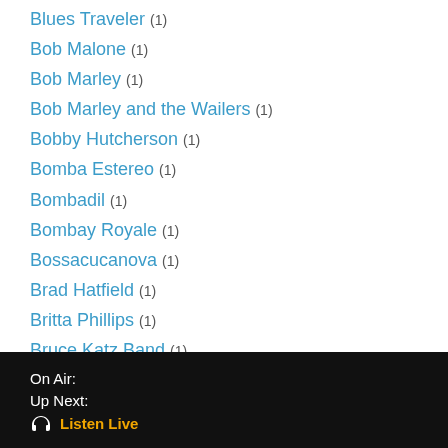Blues Traveler (1)
Bob Malone (1)
Bob Marley (1)
Bob Marley and the Wailers (1)
Bobby Hutcherson (1)
Bomba Estereo (1)
Bombadil (1)
Bombay Royale (1)
Bossacucanova (1)
Brad Hatfield (1)
Britta Phillips (1)
Bruce Katz Band (1)
Buena Vista Social Club (1)
Cage the Elephant (1)
Call You Mine (1)
Capitol Records (1)
On Air:
Up Next:
🎧 Listen Live